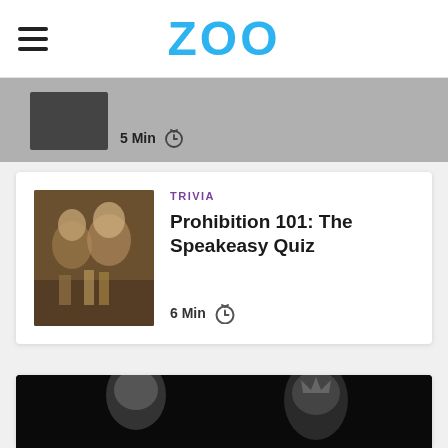ZOO
[Figure (photo): Hamburger menu icon (three horizontal lines) in the top-left of the navigation bar]
[Figure (photo): Partial previous card with gray background thumbnail and '5 Min' timer label]
TRIVIA
Prohibition 101: The Speakeasy Quiz
[Figure (photo): Sepia-toned historical photo of people at a bar during the Prohibition era]
6 Min
[Figure (photo): Black and white photo showing two women in profile, one with a decorative headband with pearls (left) and one wearing a crown/tiara (right), partially visible at bottom of page]